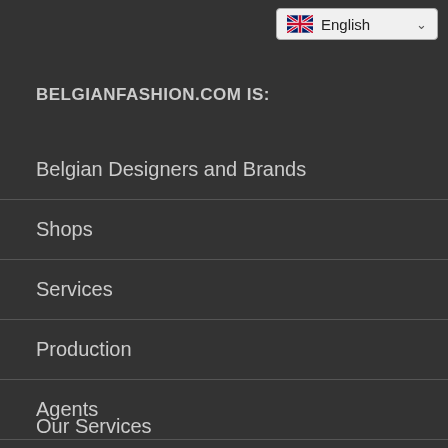[Figure (other): Language selector button showing UK flag and 'English' with dropdown chevron]
BELGIANFASHION.COM IS:
Belgian Designers and Brands
Shops
Services
Production
Agents
Schools
Organizations
Our Services